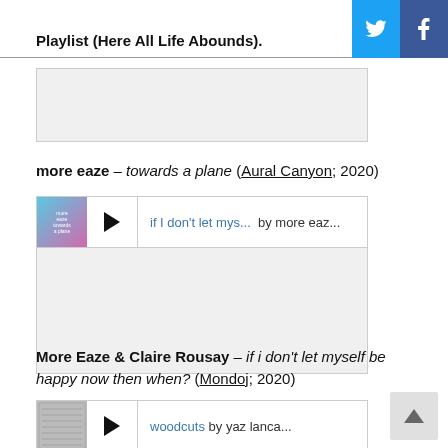Playlist (Here All Life Abounds).
more eaze – towards a plane (Aural Canyon; 2020)
[Figure (other): Embedded music player for 'towards a plane' by more eaze. Shows album thumbnail, play button, track 'if I don't let mys...' by more eaz...]
More Eaze & Claire Rousay – if i don't let myself be happy now then when? (Mondoj; 2020)
[Figure (other): Embedded music player with album art showing 'woodcuts by yaz lanca...' with play button]